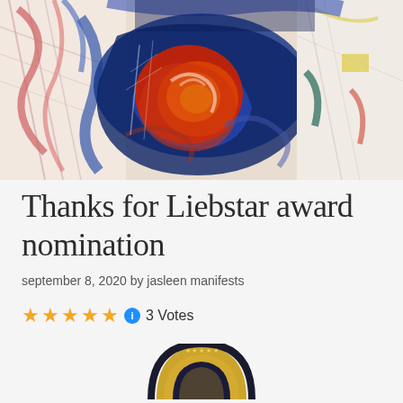[Figure (illustration): Abstract colorful painting with swirling red, blue, orange, yellow and white paint strokes forming a circular pattern on a textured canvas]
Thanks for Liebstar award nomination
september 8, 2020 by jasleen manifests
★★★★★ ℹ 3 Votes
[Figure (illustration): Partial view of a gold award badge/medal with dark circular border decorated with stars]